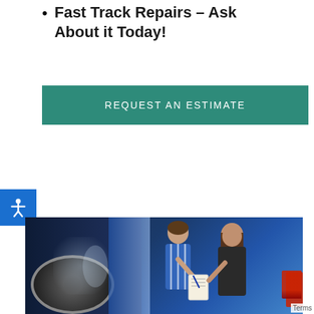Fast Track Repairs – Ask About it Today!
REQUEST AN ESTIMATE
[Figure (photo): Auto mechanic in blue striped uniform showing clipboard/notepad to female customer next to a dark blue vehicle with open door; background shows garage with car reflection]
Terms